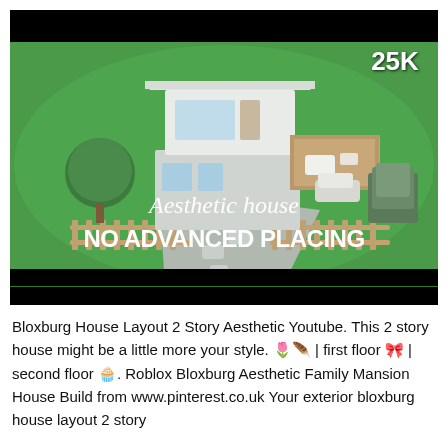[Figure (screenshot): YouTube thumbnail for a Roblox Bloxburg house build video. Shows a 2-story aesthetic house with green grass, wooden fence, driveway, and trees, viewed from an isometric angle. White bold text reads 'NO ADVANCED PLACING' and italic script text reads 'Aesthetic house'. '25K' is displayed in the upper right corner.]
Bloxburg House Layout 2 Story Aesthetic Youtube. This 2 story house might be a little more your style. 🌷🪶 | first floor 🎀 | second floor 🧁. Roblox Bloxburg Aesthetic Family Mansion House Build from www.pinterest.co.uk Your exterior bloxburg house layout 2 story